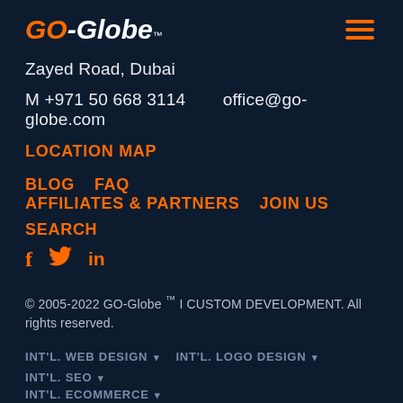GO-Globe™
Zayed Road, Dubai
M +971 50 668 3114    office@go-globe.com
LOCATION MAP
BLOG   FAQ   AFFILIATES & PARTNERS   JOIN US   SEARCH
[Figure (other): Social media icons: Facebook (f), Twitter (bird), LinkedIn (in) in orange]
© 2005-2022 GO-Globe ™ I CUSTOM DEVELOPMENT. All rights reserved.
INT'L. WEB DESIGN ▾   INT'L. LOGO DESIGN ▾   INT'L. SEO ▾   INT'L. ECOMMERCE ▾